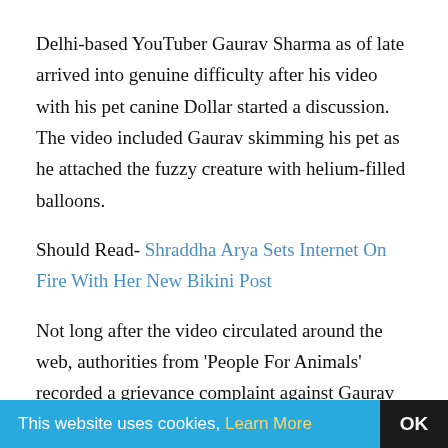Delhi-based YouTuber Gaurav Sharma as of late arrived into genuine difficulty after his video with his pet canine Dollar started a discussion. The video included Gaurav skimming his pet as he attached the fuzzy creature with helium-filled balloons.
Should Read- Shraddha Arya Sets Internet On Fire With Her New Bikini Post
Not long after the video circulated around the web, authorities from 'People For Animals' recorded a grievance complaint against Gaurav at Malviya Nagar police headquarters for taking a chance with his canine's life. Following this, a FIR was enrolled
This website uses cookies, Learn More OK